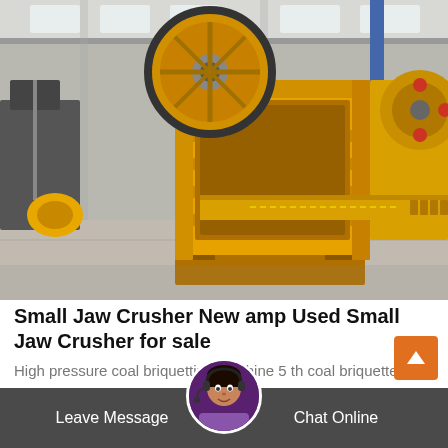[Figure (photo): Yellow jaw crusher machine in an industrial warehouse/factory setting. The large heavy-duty yellow jaw crusher is prominent in the center-left. A second yellow machine is visible on the right. The factory floor has a concrete surface with overhead steel structure.]
Small Jaw Crusher New amp Used Small Jaw Crusher for sale
High pressure coal briquetting machine 5 th coal briquette press is medium type briquetting machine it is economical used widely for user...
Leave Message   Chat Online